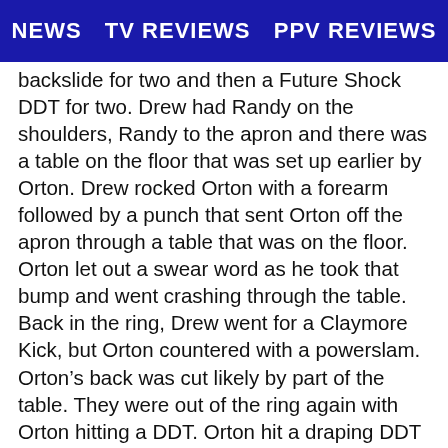NEWS   TV REVIEWS   PPV REVIEWS
backslide for two and then a Future Shock DDT for two. Drew had Randy on the shoulders, Randy to the apron and there was a table on the floor that was set up earlier by Orton. Drew rocked Orton with a forearm followed by a punch that sent Orton off the apron through a table that was on the floor. Orton let out a swear word as he took that bump and went crashing through the table. Back in the ring, Drew went for a Claymore Kick, but Orton countered with a powerslam. Orton’s back was cut likely by part of the table. They were out of the ring again with Orton hitting a DDT. Orton hit a draping DDT off the announce table to the floor. Orton went back in the ring and hit another draping DDT on Drew. Orton set up for the RKO, Drew backed off, Drew bounced off the apron and Drew hit a Claymore Kick for the pinfall win after 24 minutes. New champ!